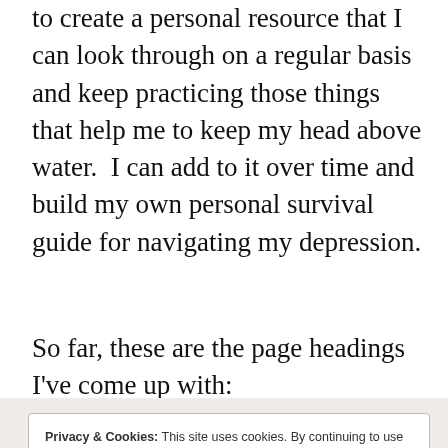to create a personal resource that I can look through on a regular basis and keep practicing those things that help me to keep my head above water.  I can add to it over time and build my own personal survival guide for navigating my depression.
So far, these are the page headings I've come up with:
Privacy & Cookies: This site uses cookies. By continuing to use this website, you agree to their use.
To find out more, including how to control cookies, see here: Cookie Policy

Close and accept